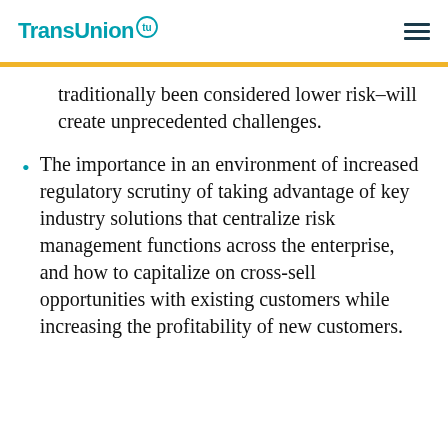TransUnion
traditionally been considered lower risk–will create unprecedented challenges.
The importance in an environment of increased regulatory scrutiny of taking advantage of key industry solutions that centralize risk management functions across the enterprise, and how to capitalize on cross-sell opportunities with existing customers while increasing the profitability of new customers.